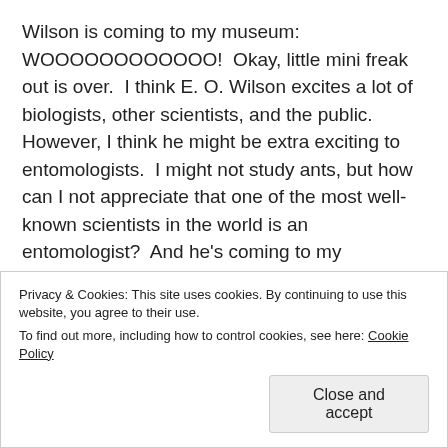Wilson is coming to my museum: WOOOOOOOOOOOO!  Okay, little mini freak out is over.  I think E. O. Wilson excites a lot of biologists, other scientists, and the public.  However, I think he might be extra exciting to entomologists.  I might not study ants, but how can I not appreciate that one of the most well-known scientists in the world is an entomologist?  And he's coming to my museum!  WOOOOOOOOOO!
But I digress!  Here's the lineup for the day...
1) Dr. Wilson attends the Director's Brunch at the
Privacy & Cookies: This site uses cookies. By continuing to use this website, you agree to their use.
To find out more, including how to control cookies, see here: Cookie Policy